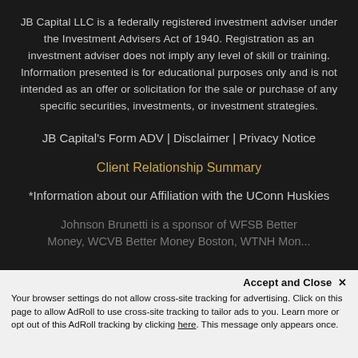JB Capital LLC is a federally registered investment adviser under the Investment Advisers Act of 1940. Registration as an investment adviser does not imply any level of skill or training. Information presented is for educational purposes only and is not intended as an offer or solicitation for the sale or purchase of any specific securities, investments, or investment strategies.
JB Capital's Form ADV | Disclaimer | Privacy Notice
Client Relationship Summary
*Information about our Affiliation with the UConn Huskies
Johnson Brunetti is a sponsor of WFSB Better Money, WCVB Better Money Boston, WTNH Money...
Accept and Close ✕
Your browser settings do not allow cross-site tracking for advertising. Click on this page to allow AdRoll to use cross-site tracking to tailor ads to you. Learn more or opt out of this AdRoll tracking by clicking here. This message only appears once.